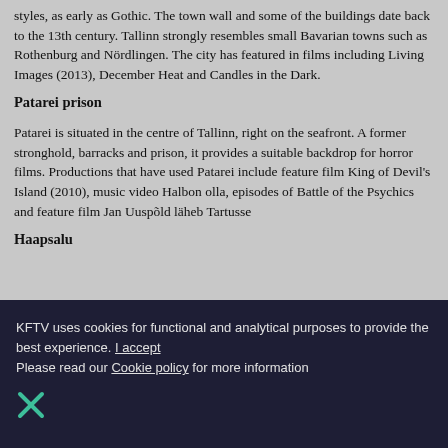styles, as early as Gothic. The town wall and some of the buildings date back to the 13th century. Tallinn strongly resembles small Bavarian towns such as Rothenburg and Nördlingen. The city has featured in films including Living Images (2013), December Heat and Candles in the Dark.
Patarei prison
Patarei is situated in the centre of Tallinn, right on the seafront. A former stronghold, barracks and prison, it provides a suitable backdrop for horror films. Productions that have used Patarei include feature film King of Devil's Island (2010), music video Halbon olla, episodes of Battle of the Psychics and feature film Jan Uuspõld läheb Tartusse
Haapsalu
KFTV uses cookies for functional and analytical purposes to provide the best experience. I accept
Please read our Cookie policy for more information